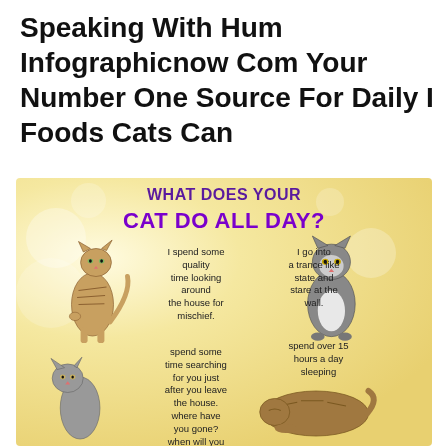Speaking With Hum Infographicnow Com Your Number One Source For Daily I Foods Cats Can
[Figure (infographic): Infographic on yellow bokeh background titled 'WHAT DOES YOUR CAT DO ALL DAY?' with four cat images and text: 'I spend some quality time looking around the house for mischief.', 'I go into a trance like state and stare at the wall.', 'spend some time searching for you just after you leave the house. where have you gone? when will you', 'spend over 15 hours a day sleeping']